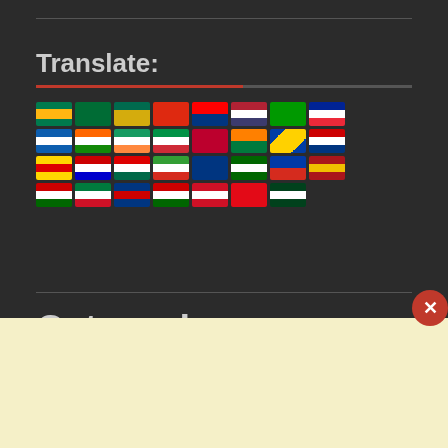Translate:
[Figure (illustration): Grid of country flag icons arranged in 4 rows showing approximately 29 flags for various countries including South Africa, Saudi Arabia, Bangladesh, China, Taiwan, USA, Nigeria, France, Greece, India, Ireland, Italy, Japan, Kurdistan, North Macedonia, Malaysia, Myanmar, Nepal, Guinea, Iran, Portugal, Pakistan, Russia, Spain, Indonesia, India (Hindi), Myanmar, Turkey, Pakistan (Urdu)]
Categories
Business
Coin Price Prediction
Crude Oil Signals